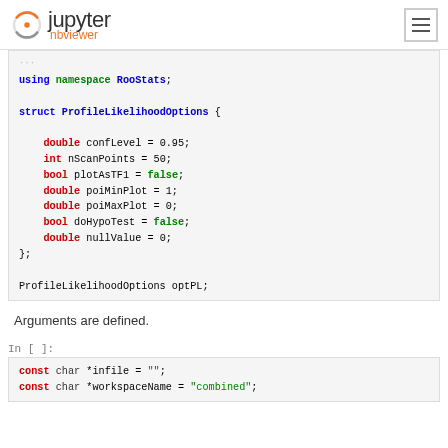Jupyter nbviewer
[Figure (screenshot): Code block showing C++ struct definition with using namespace RooStats; and struct ProfileLikelihoodOptions with fields confLevel, nScanPoints, plotAsTF1, poiMinPlot, poiMaxPlot, doHypoTest, nullValue, and ProfileLikelihoodOptions optPL;]
Arguments are defined.
In [ ]:
[Figure (screenshot): Code block showing const char *infile = ""; const char *workspaceName = "combined";]